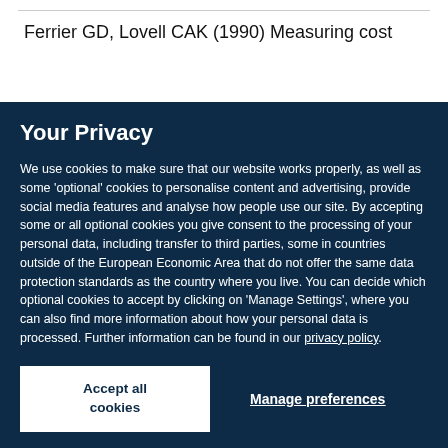Ferrier GD, Lovell CAK (1990) Measuring cost
Your Privacy
We use cookies to make sure that our website works properly, as well as some ‘optional’ cookies to personalise content and advertising, provide social media features and analyse how people use our site. By accepting some or all optional cookies you give consent to the processing of your personal data, including transfer to third parties, some in countries outside of the European Economic Area that do not offer the same data protection standards as the country where you live. You can decide which optional cookies to accept by clicking on ‘Manage Settings’, where you can also find more information about how your personal data is processed. Further information can be found in our privacy policy.
Accept all cookies
Manage preferences